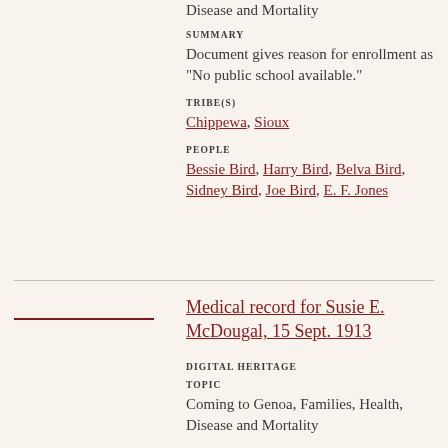Disease and Mortality
SUMMARY
Document gives reason for enrollment as "No public school available."
TRIBE(S)
Chippewa, Sioux
PEOPLE
Bessie Bird, Harry Bird, Belva Bird, Sidney Bird, Joe Bird, E. F. Jones
Medical record for Susie E. McDougal, 15 Sept. 1913
DIGITAL HERITAGE
TOPIC
Coming to Genoa, Families, Health, Disease and Mortality